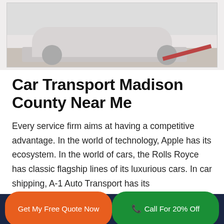[Figure (photo): Photo of a white car being loaded onto a car transport/tow truck, outdoors]
Car Transport Madison County Near Me
Every service firm aims at having a competitive advantage. In the world of technology, Apple has its ecosystem. In the world of cars, the Rolls Royce has classic flagship lines of its luxurious cars. In car shipping, A-1 Auto Transport has its
Get My Free Quote Now   |   Call For 20% Off